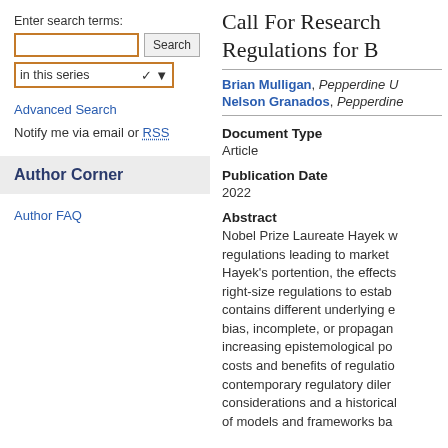Enter search terms:
Advanced Search
Notify me via email or RSS
Author Corner
Author FAQ
Call For Research Regulations for B[...]
Brian Mulligan, Pepperdine U[...]; Nelson Granados, Pepperdine[...]
Document Type
Article
Publication Date
2022
Abstract
Nobel Prize Laureate Hayek w... regulations leading to market... Hayek's portention, the effects... right-size regulations to estab... contains different underlying e... bias, incomplete, or propagand... increasing epistemological po... costs and benefits of regulatio... contemporary regulatory diler... considerations and a historical... of models and frameworks ba...